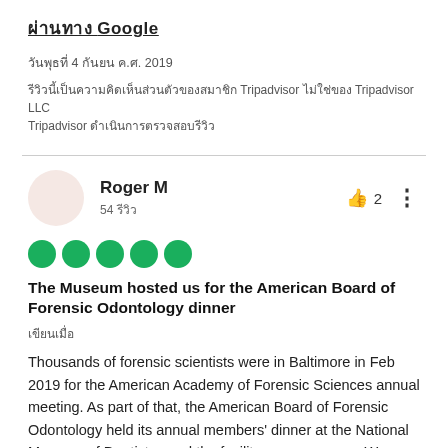ผ่านทาง Google
วันพุธที่ 4 กันยน ค.ศ. 2019
รีวิวนี้เป็นความคิดเห็นส่วนตัวของสมาชิก Tripadvisor ไม่ใช่ของ Tripadvisor LLC Tripadvisor ดำเนินการตรวจสอบรีวิว
Roger M
54 รีวิว
[Figure (other): Five green filled circle rating dots indicating 5-star review]
The Museum hosted us for the American Board of Forensic Odontology dinner
เขียนเมื่อ
Thousands of forensic scientists were in Baltimore in Feb 2019 for the American Academy of Forensic Sciences annual meeting. As part of that, the American Board of Forensic Odontology held its annual members' dinner at the National Museum of Dentistry, and the facility was awesome. We are forensic odontologists